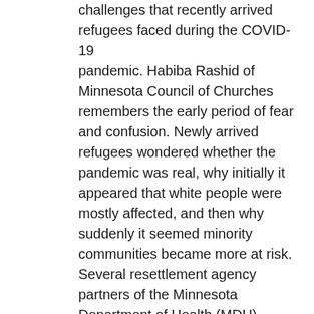challenges that recently arrived refugees faced during the COVID-19 pandemic. Habiba Rashid of Minnesota Council of Churches remembers the early period of fear and confusion. Newly arrived refugees wondered whether the pandemic was real, why initially it appeared that white people were mostly affected, and then why suddenly it seemed minority communities became more at risk. Several resettlement agency partners of the Minnesota Department of Health (MDH) – Lutheran Social Services, Catholic Charities of Southern Minnesota, the Minnesota Council of Churches, and the International Institute of Minnesota – witnessed this crisis and have since gone above and beyond to support our newest